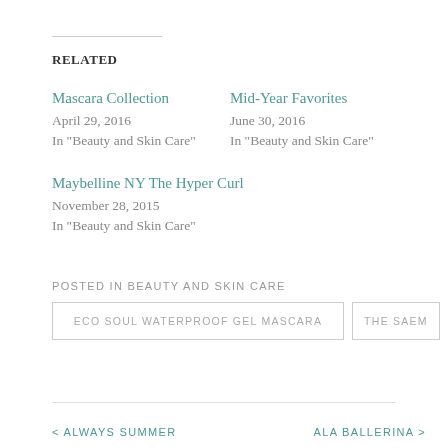RELATED
Mascara Collection
April 29, 2016
In "Beauty and Skin Care"
Mid-Year Favorites
June 30, 2016
In "Beauty and Skin Care"
Maybelline NY The Hyper Curl
November 28, 2015
In "Beauty and Skin Care"
POSTED IN BEAUTY AND SKIN CARE
ECO SOUL WATERPROOF GEL MASCARA
THE SAEM
< ALWAYS SUMMER    ALA BALLERINA >